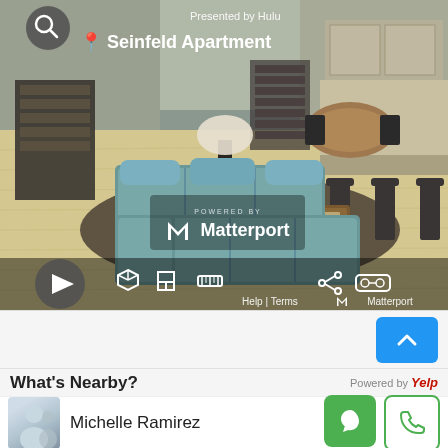[Figure (screenshot): Matterport 3D virtual tour viewer showing the Seinfeld Apartment interior, presented by Hulu. The room shows a living area with teal sofas, wooden coffee table, bookshelf, dining table, and kitchen in the background. UI controls visible at bottom including play button, navigation icons, share and VR icons. Footer shows Help, Terms, and Matterport branding.]
What's Nearby?
Powered by Yelp
Michelle Ramirez